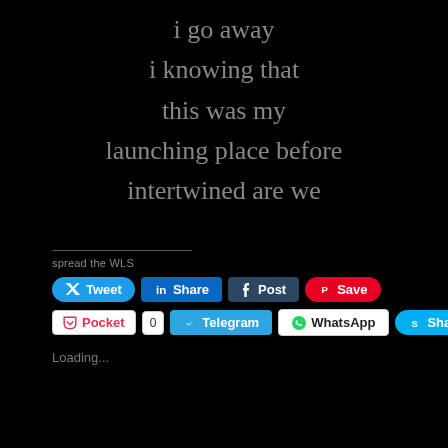i go away
i knowing that
this was my
launching place before
intertwined are we
spread the WLS
[Figure (screenshot): Social sharing buttons: Tweet, Share (LinkedIn), Post (Tumblr), Save (Pinterest), Pocket with count 0, Telegram, WhatsApp, Share (Skype)]
Loading...